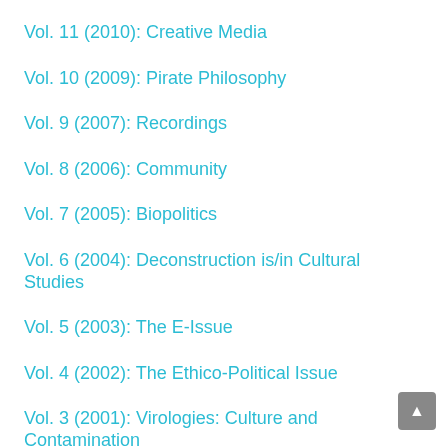Vol. 11 (2010): Creative Media
Vol. 10 (2009): Pirate Philosophy
Vol. 9 (2007): Recordings
Vol. 8 (2006): Community
Vol. 7 (2005): Biopolitics
Vol. 6 (2004): Deconstruction is/in Cultural Studies
Vol. 5 (2003): The E-Issue
Vol. 4 (2002): The Ethico-Political Issue
Vol. 3 (2001): Virologies: Culture and Contamination